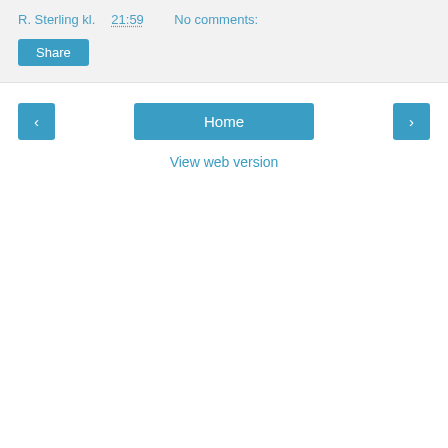R. Sterling kl. 21:59    No comments:
Share
‹
Home
›
View web version